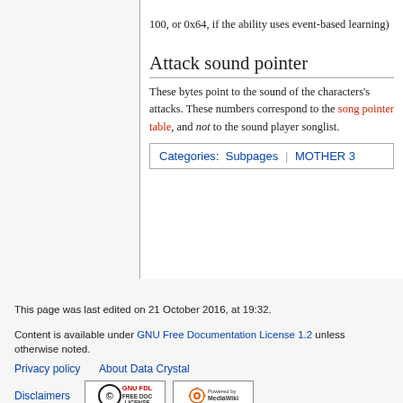100, or 0x64, if the ability uses event-based learning)
Attack sound pointer
These bytes point to the sound of the characters's attacks. These numbers correspond to the song pointer table, and not to the sound player songlist.
Categories: Subpages | MOTHER 3
This page was last edited on 21 October 2016, at 19:32.
Content is available under GNU Free Documentation License 1.2 unless otherwise noted.
Privacy policy   About Data Crystal
Disclaimers